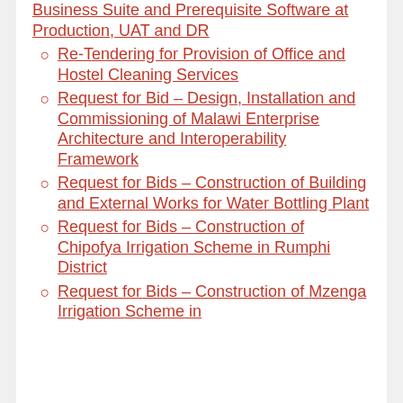Business Suite and Prerequisite Software at Production, UAT and DR
Re-Tendering for Provision of Office and Hostel Cleaning Services
Request for Bid – Design, Installation and Commissioning of Malawi Enterprise Architecture and Interoperability Framework
Request for Bids – Construction of Building and External Works for Water Bottling Plant
Request for Bids – Construction of Chipofya Irrigation Scheme in Rumphi District
Request for Bids – Construction of Mzenga Irrigation Scheme in